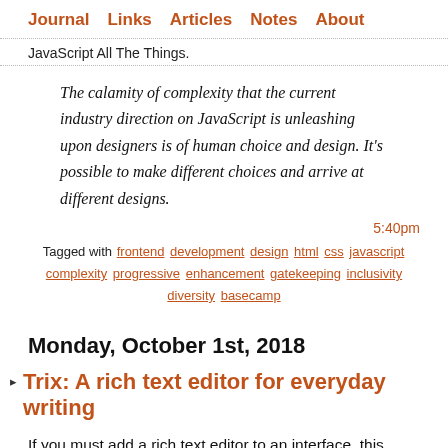Journal  Links  Articles  Notes  About
JavaScript All The Things.
The calamity of complexity that the current industry direction on JavaScript is unleashing upon designers is of human choice and design. It's possible to make different choices and arrive at different designs.
5:40pm
Tagged with frontend development design html css javascript complexity progressive enhancement gatekeeping inclusivity diversity basecamp
Monday, October 1st, 2018
Trix: A rich text editor for everyday writing
If you must add a rich text editor to an interface, this open source offering from Basecamp looks good.